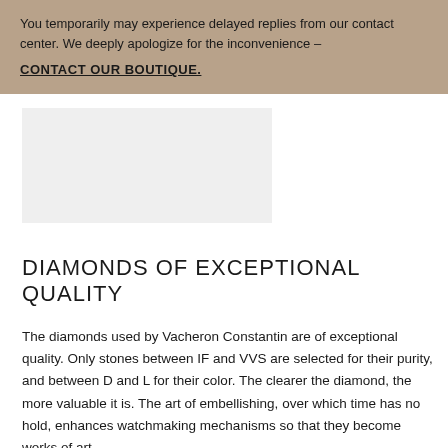You temporarily may experience delayed replies from our contact center. We deeply apologize for the inconvenience – CONTACT OUR BOUTIQUE.
[Figure (photo): Light grey rectangular placeholder image, likely a product or boutique photo]
DIAMONDS OF EXCEPTIONAL QUALITY
The diamonds used by Vacheron Constantin are of exceptional quality. Only stones between IF and VVS are selected for their purity, and between D and L for their color. The clearer the diamond, the more valuable it is. The art of embellishing, over which time has no hold, enhances watchmaking mechanisms so that they become works of art.